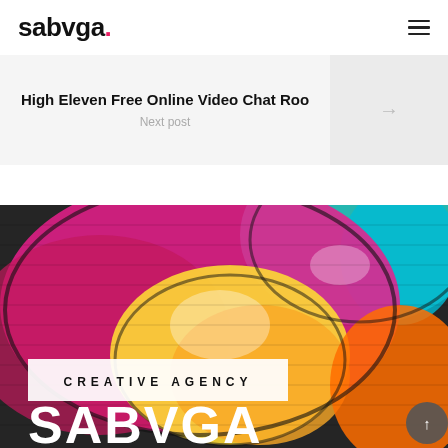sabvga.
High Eleven Free Online Video Chat Roo
Next post
[Figure (photo): Colorful graffiti art on a brick wall with large abstract shapes in pink, yellow, teal, and orange colors. Overlaid with a 'CREATIVE AGENCY' badge and large 'SABVGA' text at the bottom.]